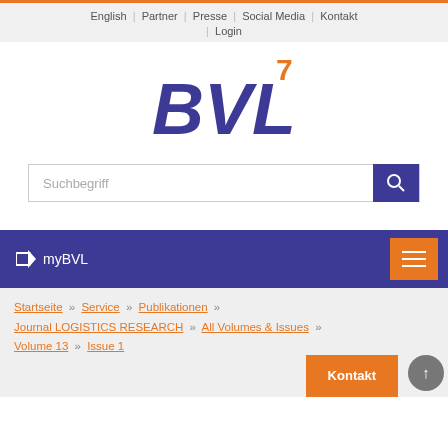English | Partner | Presse | Social Media | Kontakt | Login
[Figure (logo): BVL logo with orange superscript 7, italic bold blue letters BVL]
Suchbegriff
➜ myBVL
Startseite » Service » Publikationen » Journal LOGISTICS RESEARCH » All Volumes & Issues » Volume 13 » Issue 1
Kontakt